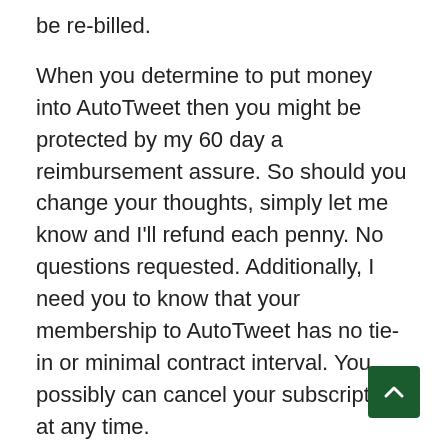be re-billed.
When you determine to put money into AutoTweet then you might be protected by my 60 day a reimbursement assure. So should you change your thoughts, simply let me know and I'll refund each penny. No questions requested. Additionally, I need you to know that your membership to AutoTweet has no tie-in or minimal contract interval. You possibly can cancel your subscription at any time.
I present as a lot worth as attainable to my clients as a result of I imagine that the extra worth I put out into the world the extra worth I get again. And I imagine in treating individuals the best way I wish to be handled. That's why I provide my